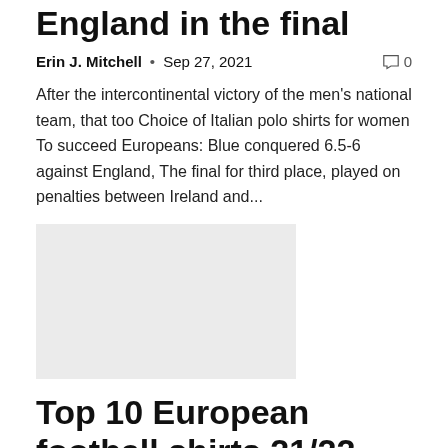England in the final
Erin J. Mitchell • Sep 27, 2021  💬 0
After the intercontinental victory of the men's national team, that too Choice of Italian polo shirts for women To succeed Europeans: Blue conquered 6.5-6 against England, The final for third place, played on penalties between Ireland and...
[Figure (photo): Placeholder image rectangle with light grey background]
Top 10 European football shirts 21/22
Erin J. Mitchell • Sep 24, 2021  💬 0
With…